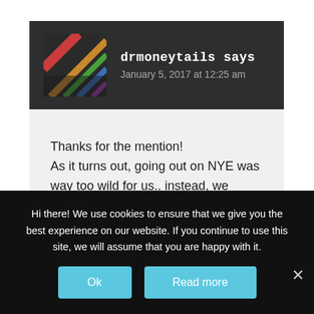[Figure (photo): Avatar/profile image thumbnail showing colorful diagonal stripes on a dark background]
drmoneytails says
January 5, 2017 at 12:25 am
Thanks for the mention!
As it turns out, going out on NYE was way too wild for us.. instead, we stayed home, cooked delicious dinner, drank some champagne, and watched Sense 8
Hi there! We use cookies to ensure that we give you the best experience on our website. If you continue to use this site, we will assume that you are happy with it.
Ok
Read more